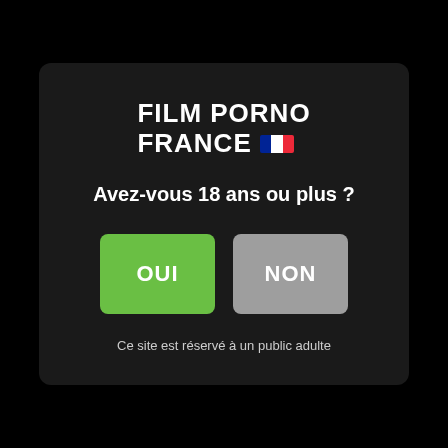FILM PORNO FRANCE
Avez-vous 18 ans ou plus ?
OUI
NON
Ce site est réservé à un public adulte